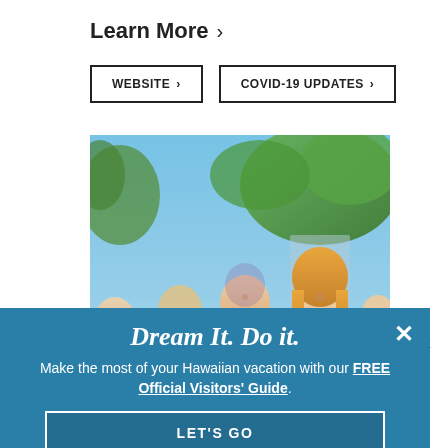Learn More >
WEBSITE >  COVID-19 UPDATES >
[Figure (photo): Family group of people sitting outdoors on grass, smiling, some playing ukulele/guitar, with tropical greenery and blue sky in background]
BACK TO TOP
Dream It. Do it.
Make the most of your Hawaiian vacation with our FREE Official Visitors' Guide.
LET'S GO